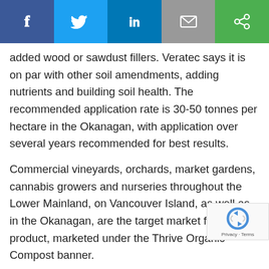[Figure (other): Social media sharing bar with Facebook, Twitter, LinkedIn, Email, and a fifth share button icons on colored backgrounds (blue, light blue, dark blue, gray, green)]
added wood or sawdust fillers. Veratec says it is on par with other soil amendments, adding nutrients and building soil health. The recommended application rate is 30-50 tonnes per hectare in the Okanagan, with application over several years recommended for best results.
Commercial vineyards, orchards, market gardens, cannabis growers and nurseries throughout the Lower Mainland, on Vancouver Island, as well as in the Okanagan, are the target market for the product, marketed under the Thrive Organic Compost banner.
Ewasiuk says building up soil structure using compost should significantly reduce the future use and dependence on conventional fertilizers and manures, which he says proven to be harmful to the environment if used long-term.